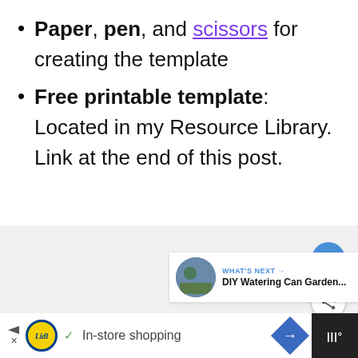Paper, pen, and scissors for creating the template
Free printable template: Located in my Resource Library. Link at the end of this post.
[Figure (screenshot): Gray content area with a heart button (blue circle), a share button (white circle with share icon), and a 'What's Next' card showing DIY Watering Can Garden... article thumbnail]
[Figure (screenshot): Ad bar at the bottom: Lidl ad with play/close arrows, checkmark, 'In-store shopping' text, blue diamond navigation icon, and dark right panel]